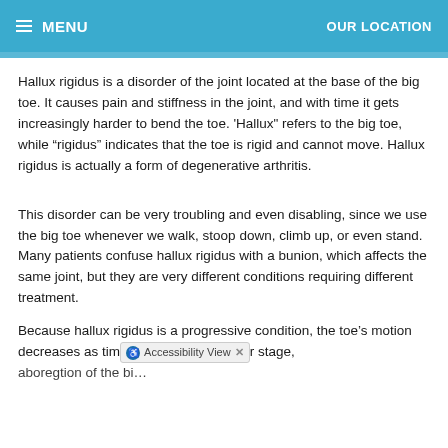MENU  OUR LOCATION
Hallux rigidus is a disorder of the joint located at the base of the big toe. It causes pain and stiffness in the joint, and with time it gets increasingly harder to bend the toe. 'Hallux" refers to the big toe, while “rigidus” indicates that the toe is rigid and cannot move. Hallux rigidus is actually a form of degenerative arthritis.
This disorder can be very troubling and even disabling, since we use the big toe whenever we walk, stoop down, climb up, or even stand. Many patients confuse hallux rigidus with a bunion, which affects the same joint, but they are very different conditions requiring different treatment.
Because hallux rigidus is a progressive condition, the toe’s motion decreases as time [Accessibility View] stage, [truncated]